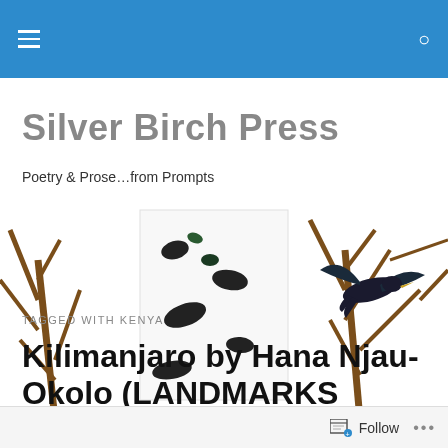Silver Birch Press [navigation header with hamburger menu and search icon]
Silver Birch Press
Poetry & Prose...from Prompts
[Figure (illustration): Decorative banner illustration showing brown tree branches with black birds and a white birch tree panel against a white background]
TAGGED WITH KENYA
Kilimanjaro by Hana Njau-Okolo (LANDMARKS Series)
Follow ...